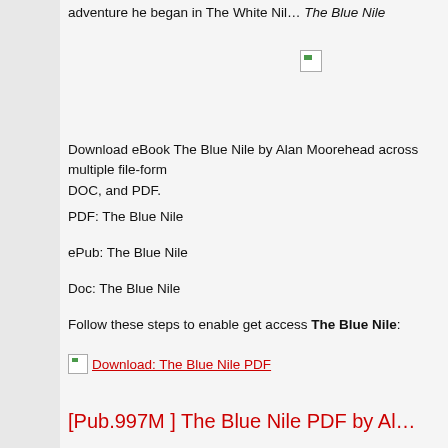adventure he began in The White Nil... The Blue Nile
[Figure (other): Small broken image icon]
Download eBook The Blue Nile by Alan Moorehead across multiple file-formats including EPUB, DOC, and PDF.
PDF: The Blue Nile
ePub: The Blue Nile
Doc: The Blue Nile
Follow these steps to enable get access The Blue Nile:
Download: The Blue Nile PDF
[Pub.997M] The Blue Nile PDF by Al...